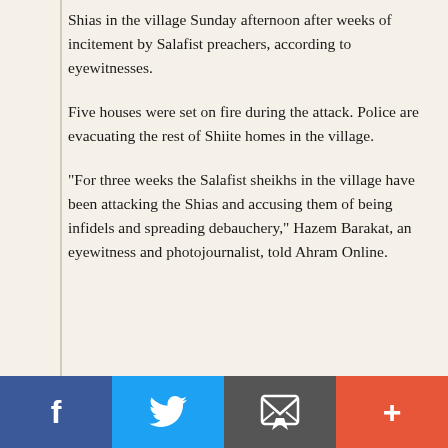Shias in the village Sunday afternoon after weeks of incitement by Salafist preachers, according to eyewitnesses.
Five houses were set on fire during the attack. Police are evacuating the rest of Shiite homes in the village.
"For three weeks the Salafist sheikhs in the village have been attacking the Shias and accusing them of being infidels and spreading debauchery," Hazem Barakat, an eyewitness and photojournalist, told Ahram Online.
Social share buttons: Facebook, Twitter, Email, More